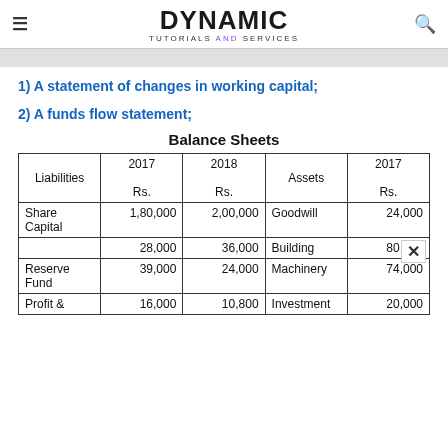DYNAMIC TUTORIALS AND SERVICES
1) A statement of changes in working capital;
2) A funds flow statement;
Balance Sheets
| Liabilities | 2017 Rs. | 2018 Rs. | Assets | 2017 Rs. |
| --- | --- | --- | --- | --- |
| Share Capital | 1,80,000 | 2,00,000 | Goodwill | 24,000 |
|  | 28,000 | 36,000 | Building | 80,000 |
| Reserve Fund | 39,000 | 24,000 | Machinery | 74,000 |
| Profit & | 16,000 | 10,800 | Investment | 20,000 |